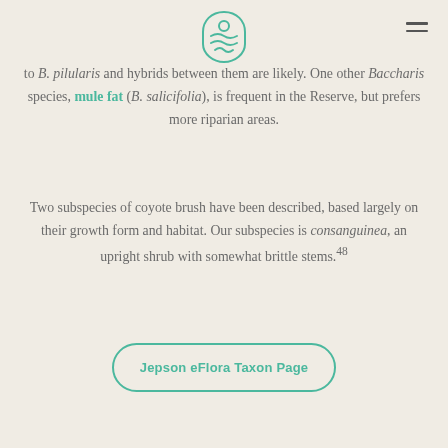Logo and navigation header
to B. pilularis and hybrids between them are likely. One other Baccharis species, mule fat (B. salicifolia), is frequent in the Reserve, but prefers more riparian areas.
Two subspecies of coyote brush have been described, based largely on their growth form and habitat. Our subspecies is consanguinea, an upright shrub with somewhat brittle stems.48
Jepson eFlora Taxon Page